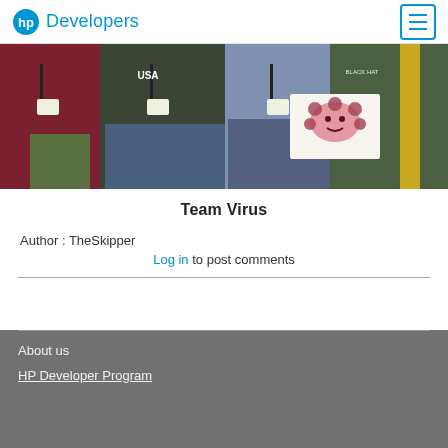HP Developers
[Figure (photo): Group photo of four people wearing name badges/lanyards. One person on the right holds a hand-drawn picture of a pink cartoon virus with a smiley face.]
Team Virus
Author : TheSkipper
Log in to post comments
About us
HP Developer Program